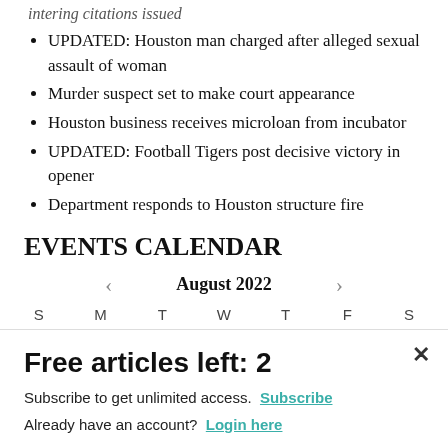intering citations issued
UPDATED: Houston man charged after alleged sexual assault of woman
Murder suspect set to make court appearance
Houston business receives microloan from incubator
UPDATED: Football Tigers post decisive victory in opener
Department responds to Houston structure fire
EVENTS CALENDAR
[Figure (other): Calendar navigation showing August 2022 with left and right arrows, and day headers S M T W T F S]
Free articles left: 2
Subscribe to get unlimited access. Subscribe
Already have an account? Login here